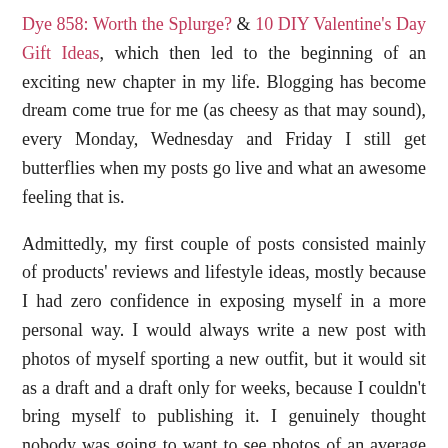Dye 858: Worth the Splurge? & 10 DIY Valentine's Day Gift Ideas, which then led to the beginning of an exciting new chapter in my life. Blogging has become dream come true for me (as cheesy as that may sound), every Monday, Wednesday and Friday I still get butterflies when my posts go live and what an awesome feeling that is.
Admittedly, my first couple of posts consisted mainly of products' reviews and lifestyle ideas, mostly because I had zero confidence in exposing myself in a more personal way. I would always write a new post with photos of myself sporting a new outfit, but it would sit as a draft and a draft only for weeks, because I couldn't bring myself to publishing it. I genuinely thought nobody was going to want to see photos of an average looking girl, who looked far different than how the media portrayed perfect women to be. I am so glad I followed my gut and pushed the “Publish” button anyway as outfit posts are the kind of content I enjoy the most to create and fashion has become such a huge part of my life.